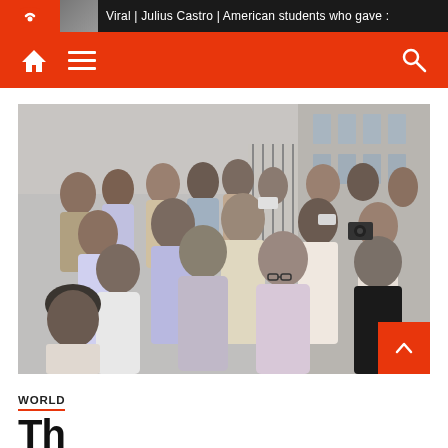Viral | Julius Castro | American students who gave :
[Figure (photo): News website navigation bar with home icon, hamburger menu, and search icon on orange/red background]
[Figure (photo): Group of people gathered outside a building, several wearing face masks, some in conversation. A man in a pink/lavender shirt with glasses is prominent in the foreground.]
WORLD
Th... S...